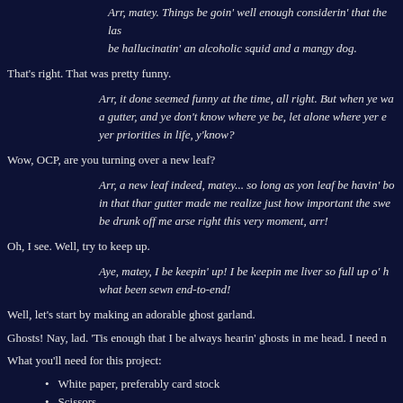Arr, matey. Things be goin' well enough considerin' that the las be hallucinatin' an alcoholic squid and a mangy dog.
That's right. That was pretty funny.
Arr, it done seemed funny at the time, all right. But when ye wa a gutter, and ye don't know where ye be, let alone where yer e yer priorities in life, y'know?
Wow, OCP, are you turning over a new leaf?
Arr, a new leaf indeed, matey... so long as yon leaf be havin' bo in that thar gutter made me realize just how important the swe be drunk off me arse right this very moment, arr!
Oh, I see. Well, try to keep up.
Aye, matey, I be keepin' up! I be keepin me liver so full up o' h what been sewn end-to-end!
Well, let's start by making an adorable ghost garland.
Ghosts! Nay, lad. 'Tis enough that I be always hearin' ghosts in me head. I need n
What you'll need for this project:
White paper, preferably card stock
Scissors
A Sharpie marker